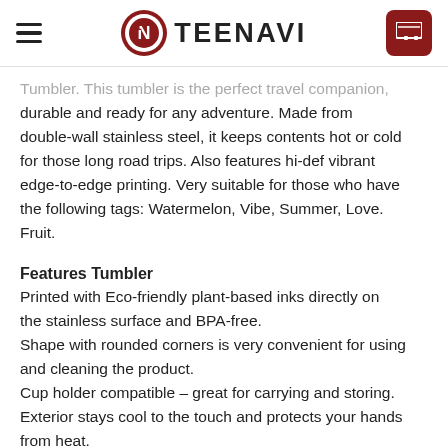TEENAVI
Tumbler. This tumbler is the perfect travel companion, durable and ready for any adventure. Made from double-wall stainless steel, it keeps contents hot or cold for those long road trips. Also features hi-def vibrant edge-to-edge printing. Very suitable for those who have the following tags: Watermelon, Vibe, Summer, Love, Fruit.
Features Tumbler
Printed with Eco-friendly plant-based inks directly on the stainless surface and BPA-free.
Shape with rounded corners is very convenient for using and cleaning the product.
Cup holder compatible – great for carrying and storing.
Exterior stays cool to the touch and protects your hands from heat.